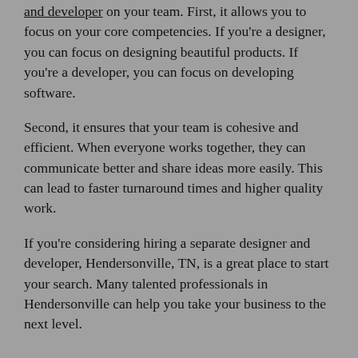and developer on your team. First, it allows you to focus on your core competencies. If you're a designer, you can focus on designing beautiful products. If you're a developer, you can focus on developing software.
Second, it ensures that your team is cohesive and efficient. When everyone works together, they can communicate better and share ideas more easily. This can lead to faster turnaround times and higher quality work.
If you're considering hiring a separate designer and developer, Hendersonville, TN, is a great place to start your search. Many talented professionals in Hendersonville can help you take your business to the next level.
5. How can you make sure